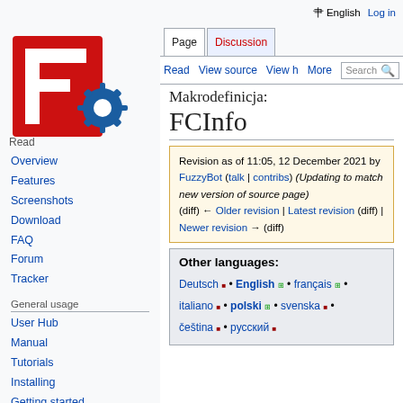A English  Log in
[Figure (logo): FreeCAD logo: red F letter with blue gear]
Overview
Features
Screenshots
Download
FAQ
Forum
Tracker
General usage
User Hub
Manual
Tutorials
Installing
Getting started
Makrodefinicja: FCInfo
Revision as of 11:05, 12 December 2021 by FuzzyBot (talk | contribs) (Updating to match new version of source page) (diff) ← Older revision | Latest revision (diff) | Newer revision → (diff)
Other languages: Deutsch • English • français • italiano • polski • svenska • čeština • русский